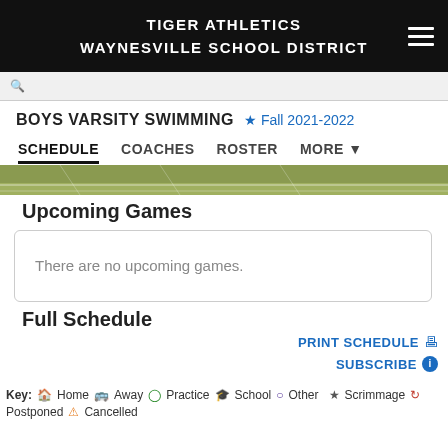TIGER ATHLETICS
WAYNESVILLE SCHOOL DISTRICT
BOYS VARSITY SWIMMING  ★ Fall 2021-2022
SCHEDULE  COACHES  ROSTER  MORE ▼
Upcoming Games
There are no upcoming games.
Full Schedule
PRINT SCHEDULE 🖨
SUBSCRIBE ℹ
Key: 🏠 Home 🚌 Away ⊙ Practice 🎓 School ○ Other ★ Scrimmage 🔄 Postponed ⚠ Cancelled